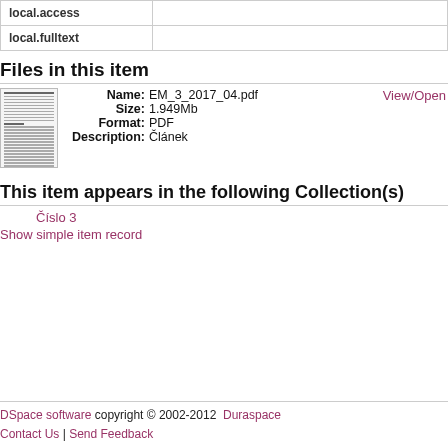| Field | Value |
| --- | --- |
| local.access |  |
| local.fulltext |  |
Files in this item
[Figure (other): Thumbnail preview of PDF document EM_3_2017_04.pdf]
Name: EM_3_2017_04.pdf
Size: 1.949Mb
Format: PDF
Description: Článek
View/Open
This item appears in the following Collection(s)
Číslo 3
Show simple item record
DSpace software copyright © 2002-2012  Duraspace
Contact Us | Send Feedback